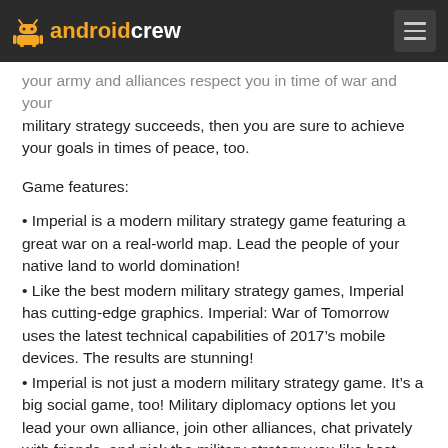androidcrew
your army and alliances respect you in time of war and your military strategy succeeds, then you are sure to achieve your goals in times of peace, too.
Game features:
• Imperial is a modern military strategy game featuring a great war on a real-world map. Lead the people of your native land to world domination!
• Like the best modern military strategy games, Imperial has cutting-edge graphics. Imperial: War of Tomorrow uses the latest technical capabilities of 2017's mobile devices. The results are stunning!
• Imperial is not just a modern military strategy game. It's a big social game, too! Military diplomacy options let you lead your own alliance, join other alliances, chat privately with friends, and pick the military strategy you like best.